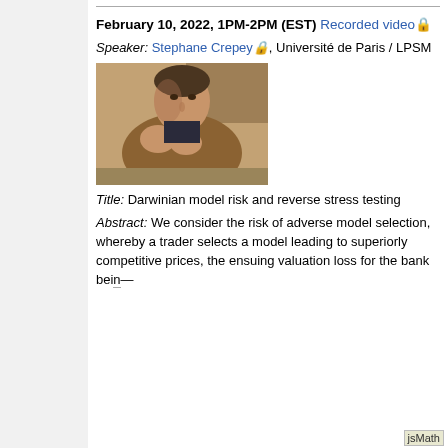February 10, 2022, 1PM-2PM (EST) Recorded video 🔒
Speaker: Stephane Crepey 🔒, Université de Paris / LPSM
[Figure (photo): Photo of Stephane Crepey, a man in a brown jacket gesturing with his hands at a table]
Title: Darwinian model risk and reverse stress testing
Abstract: We consider the risk of adverse model selection, whereby a trader selects a model leading to superiorly competitive prices, the ensuing valuation loss for the bank being...